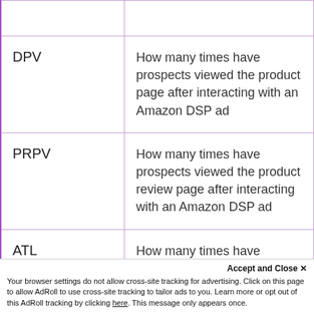| Term | Definition |
| --- | --- |
| DPV | How many times have prospects viewed the product page after interacting with an Amazon DSP ad |
| PRPV | How many times have prospects viewed the product review page after interacting with an Amazon DSP ad |
| ATL | How many times have prospects added your product to a wishlist after interacting with an Amazon DSP ad |
Accept and Close ✕
Your browser settings do not allow cross-site tracking for advertising. Click on this page to allow AdRoll to use cross-site tracking to tailor ads to you. Learn more or opt out of this AdRoll tracking by clicking here. This message only appears once.